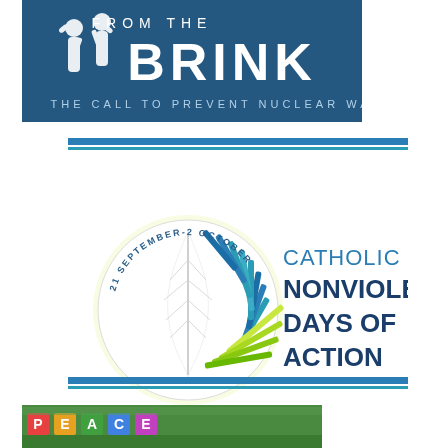[Figure (logo): From The Brink - The Call to Prevent Nuclear War banner logo with white figures on blue background]
[Figure (logo): Catholic Nonviolence Days of Action logo, 21 September - 2 October, circular feather emblem with blue text]
[Figure (photo): People holding colorful signs/letters at bottom of page]